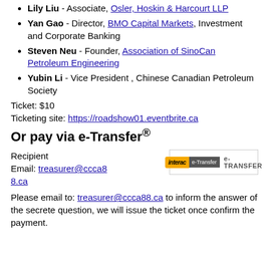Lily Liu - Associate, Osler, Hoskin & Harcourt LLP
Yan Gao - Director, BMO Capital Markets, Investment and Corporate Banking
Steven Neu - Founder, Association of SinoCan Petroleum Engineering
Yubin Li - Vice President , Chinese Canadian Petroleum Society
Ticket: $10
Ticketing site: https://roadshow01.eventbrite.ca
Or pay via e-Transfer®
Recipient
Email: treasurer@ccca88.ca
[Figure (logo): Interac e-Transfer logo showing yellow and gray badge with e-TRANSFER text]
Please email to: treasurer@ccca88.ca to inform the answer of the secrete question, we will issue the ticket once confirm the payment.